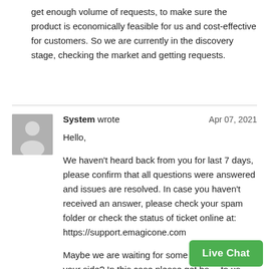get enough volume of requests, to make sure the product is economically feasible for us and cost-effective for customers. So we are currently in the discovery stage, checking the market and getting requests.
System wrote  Apr 07, 2021

Hello,

We haven't heard back from you for last 7 days, please confirm that all questions were answered and issues are resolved. In case you haven't received an answer, please check your spam folder or check the status of ticket online at: https://support.emagicone.com

Maybe we are waiting for some information from your side? In this case please get back to us.